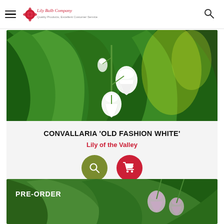Lily Bulb Company — Quality Products, Excellent Customer Service
[Figure (photo): Close-up photo of white Lily of the Valley flowers (Convallaria) with green leaves background]
CONVALLARIA 'OLD FASHION WHITE'
Lily of the Valley
[Figure (infographic): Two circular buttons: olive green search button and red shopping cart button]
[Figure (photo): Partial photo of pink/light purple Lily of the Valley flowers with PRE-ORDER label overlay]